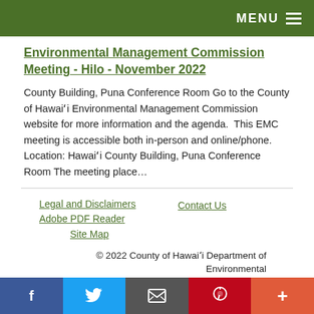MENU
Environmental Management Commission Meeting - Hilo - November 2022
County Building, Puna Conference Room Go to the County of Hawaiʻi Environmental Management Commission website for more information and the agenda.  This EMC meeting is accessible both in-person and online/phone. Location: Hawaiʻi County Building, Puna Conference Room The meeting place…
Legal and Disclaimers   Contact Us   Site Map   Adobe PDF Reader   © 2022 County of Hawaiʻi Department of Environmental Management.